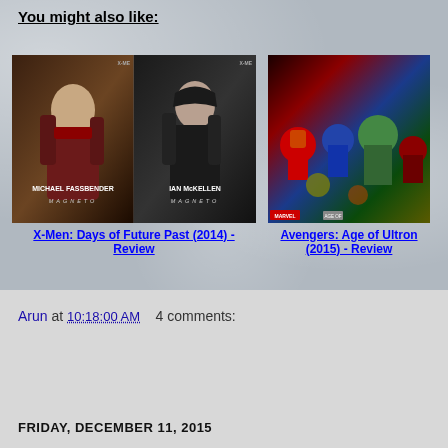You might also like:
[Figure (photo): X-Men Days of Future Past promotional image with Michael Fassbender and Ian McKellen as Magneto]
X-Men: Days of Future Past (2014) - Review
[Figure (photo): Avengers: Age of Ultron movie poster with heroes]
Avengers: Age of Ultron (2015) - Review
Arun at 10:18:00 AM   4 comments:
Share
FRIDAY, DECEMBER 11, 2015